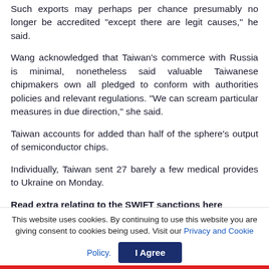Such exports may perhaps per chance presumably no longer be accredited “except there are legit causes,” he said.
Wang acknowledged that Taiwan’s commerce with Russia is minimal, nonetheless said valuable Taiwanese chipmakers own all pledged to conform with authorities policies and relevant regulations. “We can scream particular measures in due direction,” she said.
Taiwan accounts for added than half of the sphere’s output of semiconductor chips.
Individually, Taiwan sent 27 barely a few medical provides to Ukraine on Monday.
Read extra relating to the SWIFT sanctions here
This website uses cookies. By continuing to use this website you are giving consent to cookies being used. Visit our Privacy and Cookie Policy.
I Agree